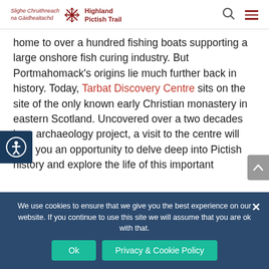Slighe Chruithneach na Gàidhealtachd / Highland Pictish Trail
home to over a hundred fishing boats supporting a large onshore fish curing industry. But Portmahomack's origins lie much further back in history. Today, Tarbat Discovery Centre sits on the site of the only known early Christian monastery in eastern Scotland. Uncovered over a two decades long archaeology project, a visit to the centre will give you an opportunity to delve deep into Pictish history and explore the life of this important
We use cookies to ensure that we give you the best experience on our website. If you continue to use this site we will assume that you are ok with that.